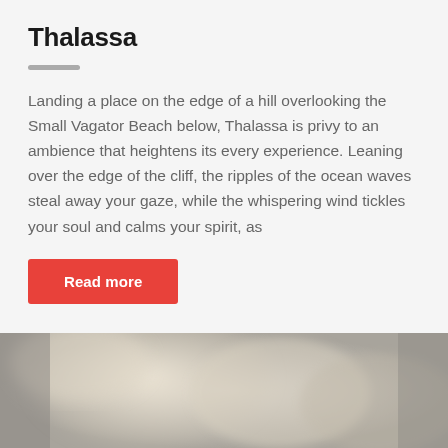Thalassa
Landing a place on the edge of a hill overlooking the Small Vagator Beach below, Thalassa is privy to an ambience that heightens its every experience. Leaning over the edge of the cliff, the ripples of the ocean waves steal away your gaze, while the whispering wind tickles your soul and calms your spirit, as
Read more
[Figure (photo): A blurred/soft-focus photograph visible at the bottom of the page, showing indistinct warm-toned objects, partially cropped.]